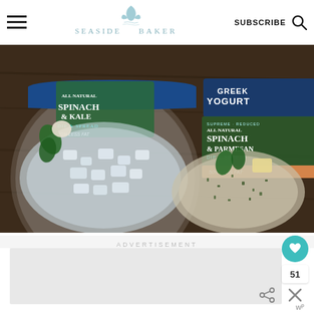SEASIDE BAKER — SUBSCRIBE
[Figure (photo): Two containers of dip and spread products on a dark wooden surface: left is Spinach & Kale Dip & Spread (50% Less Fat), right is Greek Yogurt Spinach & Parmesan Dip & Spread (50% Less Fat)]
ADVERTISEMENT